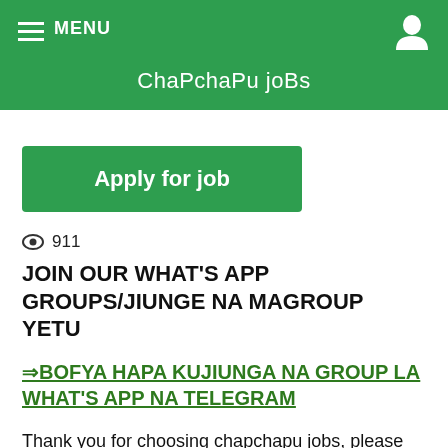MENU   ChaPchaPu joBs
Apply for job
911
JOIN OUR WHAT'S APP GROUPS/JIUNGE NA MAGROUP YETU
⇒BOFYA HAPA KUJIUNGA NA GROUP LA WHAT'S APP NA TELEGRAM
Thank you for choosing chapchapu jobs, please